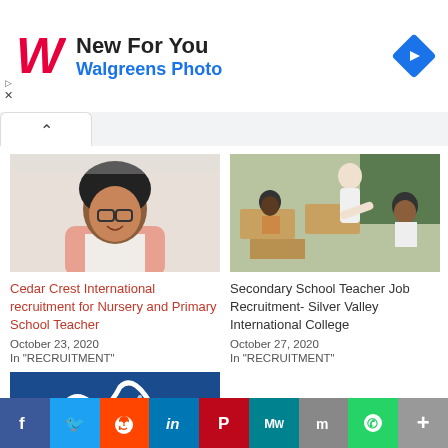[Figure (infographic): Walgreens Photo advertisement banner with red script W logo, text 'New For You' and 'Walgreens Photo', and blue diamond navigation arrow icon on right]
[Figure (photo): Young Black woman with glasses and curly hair smiling, wearing a pink blazer]
Cedar Crest International recruitment for Nursery and Primary School Teacher
October 23, 2020
In "RECRUITMENT"
[Figure (photo): Classroom scene with teacher helping students at desks, chalkboard in background]
Secondary School Teacher Job Recruitment- Silver Valley International College
October 27, 2020
In "RECRUITMENT"
[Figure (logo): Blue background with white script/cursive logo mark, partially visible at bottom]
[Figure (infographic): Social sharing bar with Facebook, Twitter, Reddit, LinkedIn, Pinterest, MeWe, Mix, WhatsApp, and More buttons]